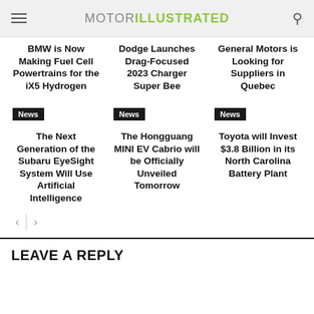MOTOR ILLUSTRATED
BMW is Now Making Fuel Cell Powertrains for the iX5 Hydrogen
Dodge Launches Drag-Focused 2023 Charger Super Bee
General Motors is Looking for Suppliers in Quebec
News
The Next Generation of the Subaru EyeSight System Will Use Artificial Intelligence
News
The Hongguang MINI EV Cabrio will be Officially Unveiled Tomorrow
News
Toyota will Invest $3.8 Billion in its North Carolina Battery Plant
LEAVE A REPLY